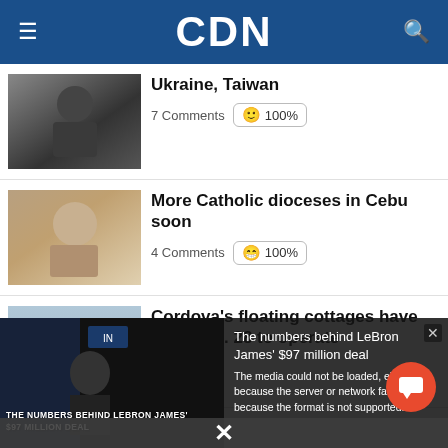CDN
Ukraine, Taiwan
7 Comments | 100%
More Catholic dioceses in Cebu soon
4 Comments | 100%
Cordova's floating cottages have until Aug. 28 to operate
The media could not be loaded, either because the server or network failed or because the format is not supported.
The numbers behind LeBron James' $97 million deal